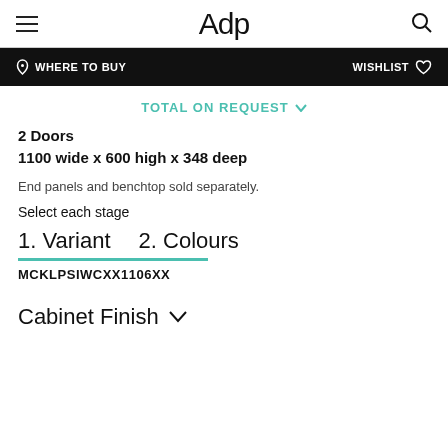Adp
WHERE TO BUY   WISHLIST
TOTAL ON REQUEST
2 Doors
1100 wide x 600 high x 348 deep
End panels and benchtop sold separately.
Select each stage
1. Variant    2. Colours
MCKLPSIWCXX1106XX
Cabinet Finish